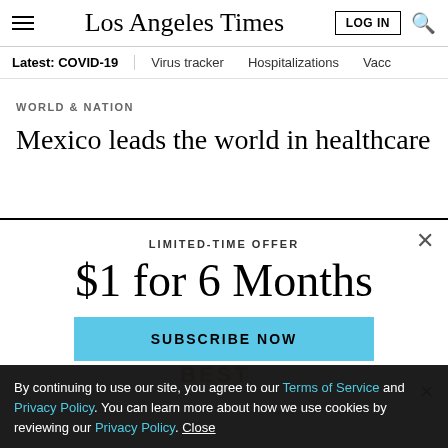Los Angeles Times
WORLD & NATION
Mexico leads the world in healthcare
LIMITED-TIME OFFER
$1 for 6 Months
SUBSCRIBE NOW
By continuing to use our site, you agree to our Terms of Service and Privacy Policy. You can learn more about how we use cookies by reviewing our Privacy Policy. Close